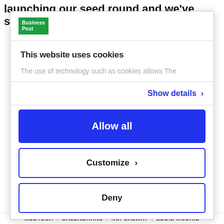launching our seed round and we've since had
[Figure (logo): Business Post logo — green background with white 'Business Post' text]
This website uses cookies
The use of technology such as cookies allows The
Show details ›
Allow all
Customize ›
Deny
MEDTECH | GALENBRAND | NUI GALWAY | EDDIE MCDAID